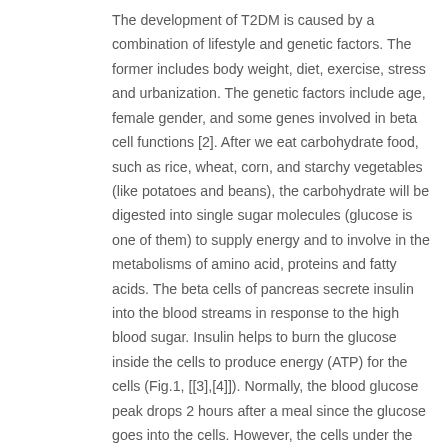The development of T2DM is caused by a combination of lifestyle and genetic factors. The former includes body weight, diet, exercise, stress and urbanization. The genetic factors include age, female gender, and some genes involved in beta cell functions [2]. After we eat carbohydrate food, such as rice, wheat, corn, and starchy vegetables (like potatoes and beans), the carbohydrate will be digested into single sugar molecules (glucose is one of them) to supply energy and to involve in the metabolisms of amino acid, proteins and fatty acids. The beta cells of pancreas secrete insulin into the blood streams in response to the high blood sugar. Insulin helps to burn the glucose inside the cells to produce energy (ATP) for the cells (Fig.1, [[3],[4]]). Normally, the blood glucose peak drops 2 hours after a meal since the glucose goes into the cells. However, the cells under the condition of T2DM can't take in the glucose from the blood, leading the blood glucose high. The high blood glucose makes